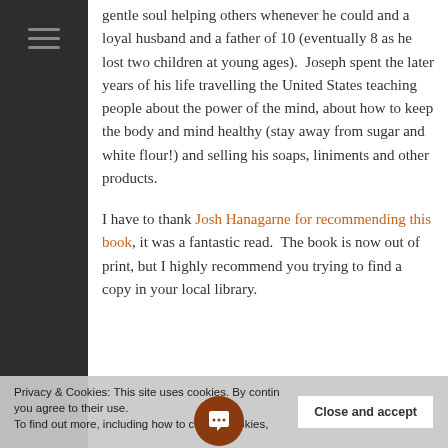gentle soul helping others whenever he could and a loyal husband and a father of 10 (eventually 8 as he lost two children at young ages).  Joseph spent the later years of his life travelling the United States teaching people about the power of the mind, about how to keep the body and mind healthy (stay away from sugar and white flour!) and selling his soaps, liniments and other products.
I have to thank Josh Hanagarne for recommending this book, it was a fantastic read.  The book is now out of print, but I highly recommend you trying to find a copy in your local library.
Privacy & Cookies: This site uses cookies. By contin you agree to their use. To find out more, including how to control cookies,